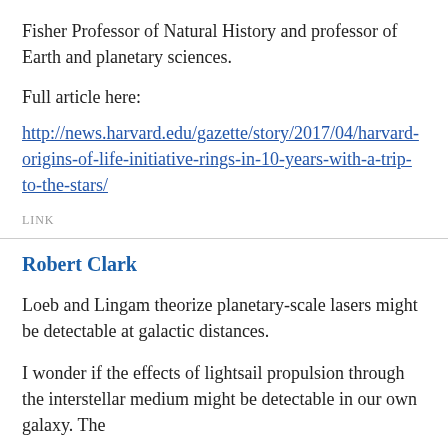Fisher Professor of Natural History and professor of Earth and planetary sciences.
Full article here:
http://news.harvard.edu/gazette/story/2017/04/harvard-origins-of-life-initiative-rings-in-10-years-with-a-trip-to-the-stars/
LINK
Robert Clark
Loeb and Lingam theorize planetary-scale lasers might be detectable at galactic distances.
I wonder if the effects of lightsail propulsion through the interstellar medium might be detectable in our own galaxy. The